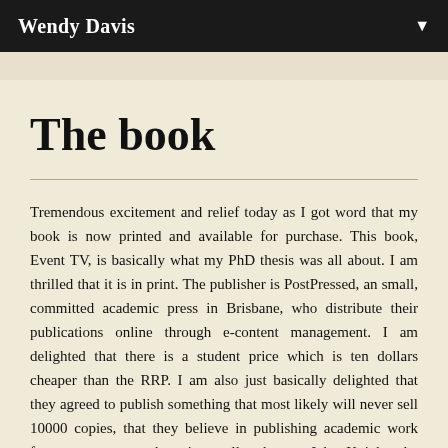Wendy Davis
The book
Tremendous excitement and relief today as I got word that my book is now printed and available for purchase. This book, Event TV, is basically what my PhD thesis was all about. I am thrilled that it is in print. The publisher is PostPressed, an small, committed academic press in Brisbane, who distribute their publications online through e-content management. I am delighted that there is a student price which is ten dollars cheaper than the RRP. I am also just basically delighted that they agreed to publish something that most likely will never sell 10000 copies, that they believe in publishing academic work from young researchers in small volumes. John Knight, the editor has a strong belief in the traditional values of academia and for that PostPressed should be celebrated. If you are interested the link is